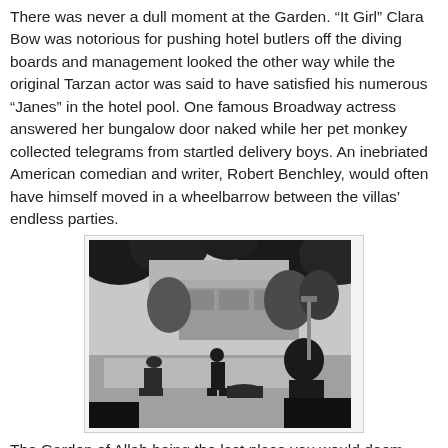There was never a dull moment at the Garden. “It Girl” Clara Bow was notorious for pushing hotel butlers off the diving boards and management looked the other way while the original Tarzan actor was said to have satisfied his numerous “Janes” in the hotel pool. One famous Broadway actress answered her bungalow door naked while her pet monkey collected telegrams from startled delivery boys. An inebriated American comedian and writer, Robert Benchley, would often have himself moved in a wheelbarrow between the villas’ endless parties.
[Figure (photo): Black and white photograph of people around a pool with buildings and trees in the background, likely at the Garden of Allah hotel.]
The Garden of Allah being the last place you would deem suitable for a writer to stay sober and create a disciplined